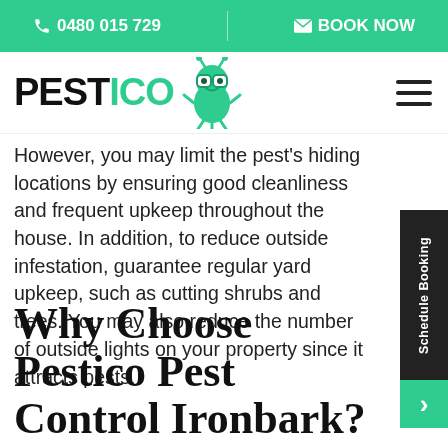📞 0480 015 729 | ✉ BOOK NOW
[Figure (logo): PESTICO logo with green ant mascot wearing glasses and hamburger menu icon]
However, you may limit the pest's hiding locations by ensuring good cleanliness and frequent upkeep throughout the house. In addition, to reduce outside infestation, guarantee regular yard upkeep, such as cutting shrubs and trees. You may also reduce the number of outside lights on your property since it attracts pests.
Why Choose Pestico Pest Control Ironbark?